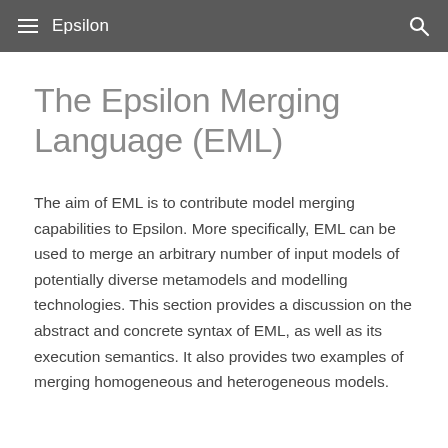Epsilon
The Epsilon Merging Language (EML)
The aim of EML is to contribute model merging capabilities to Epsilon. More specifically, EML can be used to merge an arbitrary number of input models of potentially diverse metamodels and modelling technologies. This section provides a discussion on the abstract and concrete syntax of EML, as well as its execution semantics. It also provides two examples of merging homogeneous and heterogeneous models.